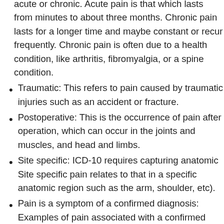acute or chronic. Acute pain is that which lasts from minutes to about three months. Chronic pain lasts for a longer time and maybe constant or recur frequently. Chronic pain is often due to a health condition, like arthritis, fibromyalgia, or a spine condition.
Traumatic: This refers to pain caused by traumatic injuries such as an accident or fracture.
Postoperative: This is the occurrence of pain after operation, which can occur in the joints and muscles, and head and limbs.
Site specific: ICD-10 requires capturing anatomic Site specific pain relates to that in a specific anatomic region such as the arm, shoulder, etc).
Pain is a symptom of a confirmed diagnosis: Examples of pain associated with a confirmed diagnosis include pain due to ankylosing spondylitis (AS) and abdominal pain due to Signs and symptoms